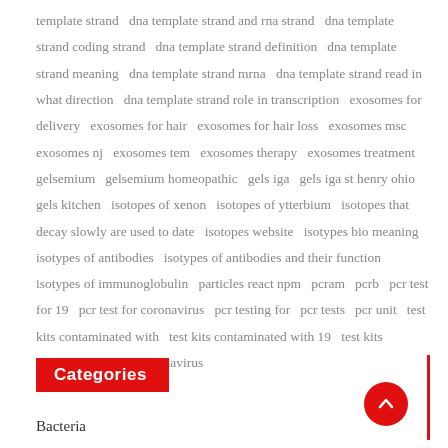template strand   dna template strand and rna strand   dna template strand coding strand   dna template strand definition   dna template strand meaning   dna template strand mrna   dna template strand read in what direction   dna template strand role in transcription   exosomes for delivery   exosomes for hair   exosomes for hair loss   exosomes msc   exosomes nj   exosomes tem   exosomes therapy   exosomes treatment   gelsemium   gelsemium homeopathic   gels iga   gels iga st henry ohio   gels kitchen   isotopes of xenon   isotopes of ytterbium   isotopes that decay slowly are used to date   isotopes website   isotypes bio meaning   isotypes of antibodies   isotypes of antibodies and their function   isotypes of immunoglobulin   particles react npm   pcram   pcrb   pcr test for 19   pcr test for coronavirus   pcr testing for   pcr tests   pcr unit   test kits contaminated with   test kits contaminated with 19   test kits contaminated with coronavirus
Categories
Bacteria